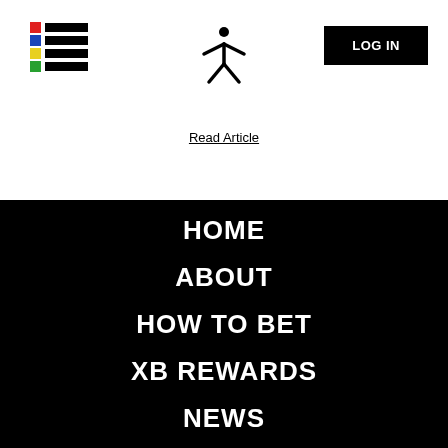[Figure (logo): Colored hamburger menu icon with red, blue, yellow, green horizontal bars alongside black lines]
[Figure (logo): XB or person-like X logo centered at top]
[Figure (other): LOG IN button, black background white text]
Read Article
HOME
ABOUT
HOW TO BET
XB REWARDS
NEWS